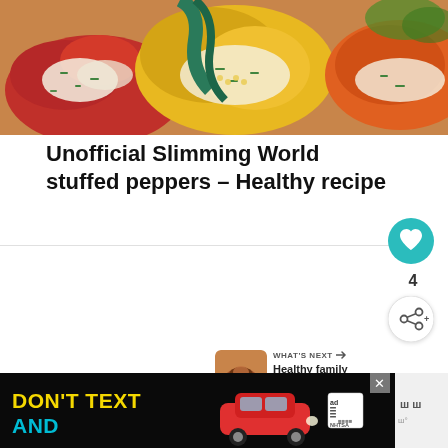[Figure (photo): Overhead photo of colorful stuffed bell peppers (red, yellow, orange) topped with melted cheese and green herbs in a baking dish]
Unofficial Slimming World stuffed peppers – Healthy recipe
[Figure (infographic): Heart/like button (teal circle with heart icon), count of 4, and share button below]
[Figure (infographic): WHAT'S NEXT arrow label with thumbnail of food and text: Healthy family meals for a...]
[Figure (screenshot): Advertisement banner with black background showing DON'T TEXT AND with red car graphic, ad label, and NHTSA logo]